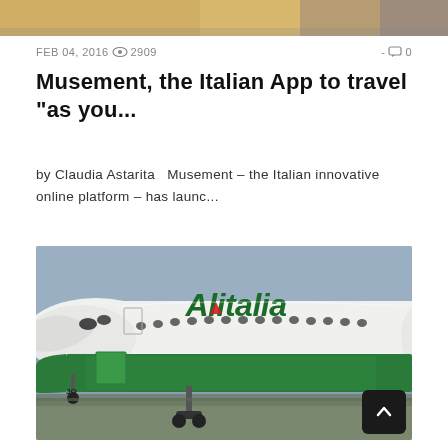[Figure (photo): Top cropped photo strip showing food/objects on a table]
FEB 04, 2016  2909  - 0
Musement, the Italian App to travel “as you...
by Claudia Astarita   Musement – the Italian innovative online platform – has launc...
[Figure (photo): Close-up photo of an Alitalia airplane on the tarmac, showing the nose, green livery, and Alitalia logo]